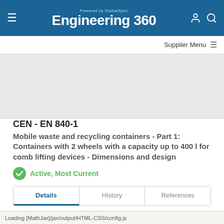Powered by GlobalSpec Engineering 360
Supplier Menu
[Figure (other): Gray advertisement/banner placeholder area]
CEN - EN 840-1
Mobile waste and recycling containers - Part 1: Containers with 2 wheels with a capacity up to 400 l for comb lifting devices - Dimensions and design
Active, Most Current
Details | History | References
Organization: CEN
Publication Date: 1 April 2020
Loading [MathJax]/jax/output/HTML-CSS/config.js